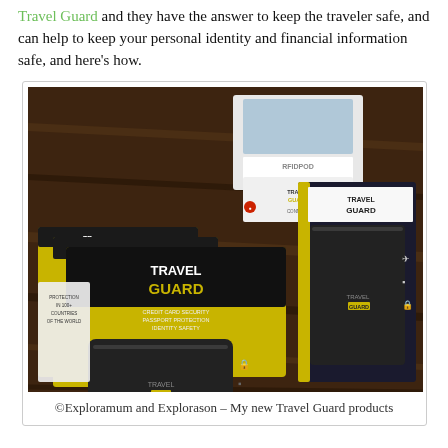Travel Guard and they have the answer to keep the traveler safe, and can help to keep your personal identity and financial information safe, and here's how.
[Figure (photo): A photo of multiple Travel Guard brand security products laid out on a wooden surface, including RFID-blocking card sleeves, a passport holder, a wallet, and an RFIDPOD product box.]
©Exploramum and Explorason – My new Travel Guard products